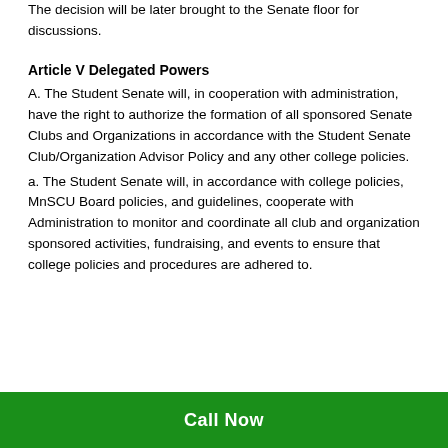The decision will be later brought to the Senate floor for discussions.
Article V Delegated Powers
A. The Student Senate will, in cooperation with administration, have the right to authorize the formation of all sponsored Senate Clubs and Organizations in accordance with the Student Senate Club/Organization Advisor Policy and any other college policies.
a. The Student Senate will, in accordance with college policies, MnSCU Board policies, and guidelines, cooperate with Administration to monitor and coordinate all club and organization sponsored activities, fundraising, and events to ensure that college policies and procedures are adhered to.
Call Now